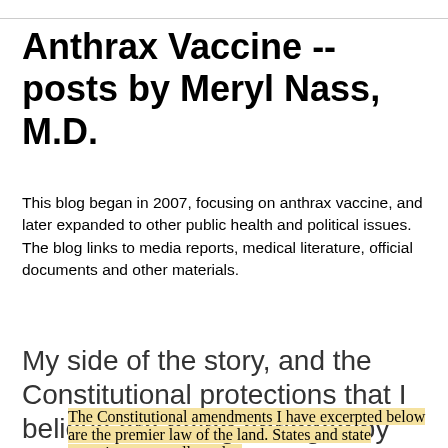Anthrax Vaccine -- posts by Meryl Nass, M.D.
This blog began in 2007, focusing on anthrax vaccine, and later expanded to other public health and political issues. The blog links to media reports, medical literature, official documents and other materials.
Thursday, January 13, 2022
My side of the story, and the Constitutional protections that I believe are being abridged by the Misinformation Witch Hunt
The Constitutional amendments I have excerpted below are the premier law of the land. States and state agencies are not allowed to